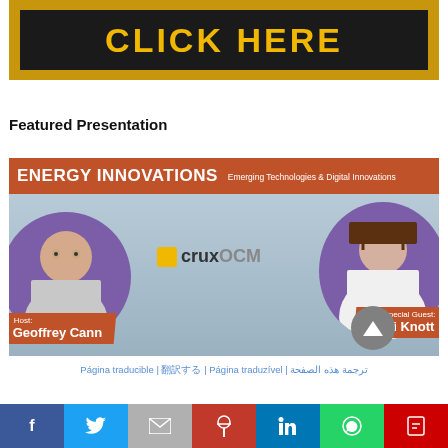[Figure (illustration): Gold/amber colored banner with dark inner box and bold yellow 'CLICK HERE' text]
Featured Presentation
[Figure (illustration): Energy Innovations Episode 12 promotional card with host Geoffrey Cann and Special Guest Vicki Knott, cruxOCM logo, orange and purple design]
Página traducible | 翻訳する | Página traduzível | ترجمة هذه الصفحة
[Figure (infographic): Social share bar with Facebook, Twitter, Email, Pinterest, LinkedIn, WhatsApp, Flipboard buttons]